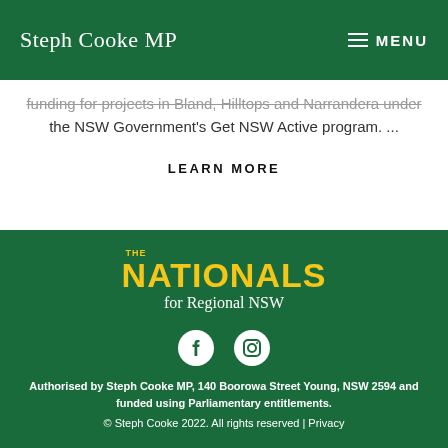Steph Cooke MP | MENU
funding for projects in Bland, Hilltops and Narrandera under the NSW Government's Get NSW Active program. ...
LEARN MORE
[Figure (logo): The Nationals for Regional NSW logo with yellow text and white cursive subtitle on dark green background]
[Figure (logo): Facebook and Instagram social media icons in white on dark green background]
Authorised by Steph Cooke MP, 140 Boorowa Street Young, NSW 2594 and funded using Parliamentary entitlements. © Steph Cooke 2022. All rights reserved | Privacy